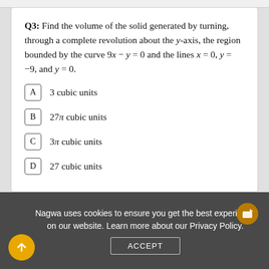Q3: Find the volume of the solid generated by turning, through a complete revolution about the y-axis, the region bounded by the curve 9x − y = 0 and the lines x = 0, y = −9, and y = 0.
A  3 cubic units
B  27π cubic units
C  3π cubic units
D  27 cubic units
Nagwa uses cookies to ensure you get the best experience on our website. Learn more about our Privacy Policy.